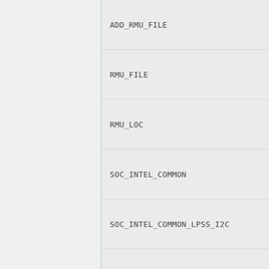ADD_RMU_FILE
RMU_FILE
RMU_LOC
SOC_INTEL_COMMON
SOC_INTEL_COMMON_LPSS_I2C
SOC_INTEL_COMMON_LPSS_I2C_CLOCK_MHZ
SOC_SETS_MTRRS
MMA